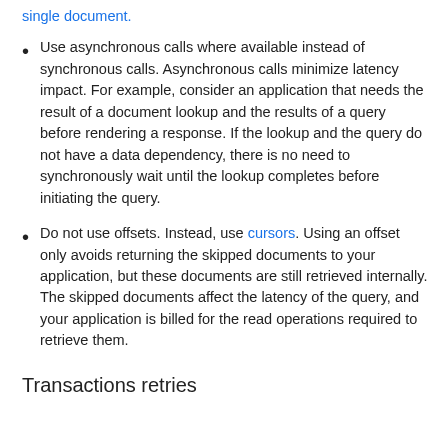single document.
Use asynchronous calls where available instead of synchronous calls. Asynchronous calls minimize latency impact. For example, consider an application that needs the result of a document lookup and the results of a query before rendering a response. If the lookup and the query do not have a data dependency, there is no need to synchronously wait until the lookup completes before initiating the query.
Do not use offsets. Instead, use cursors. Using an offset only avoids returning the skipped documents to your application, but these documents are still retrieved internally. The skipped documents affect the latency of the query, and your application is billed for the read operations required to retrieve them.
Transactions retries